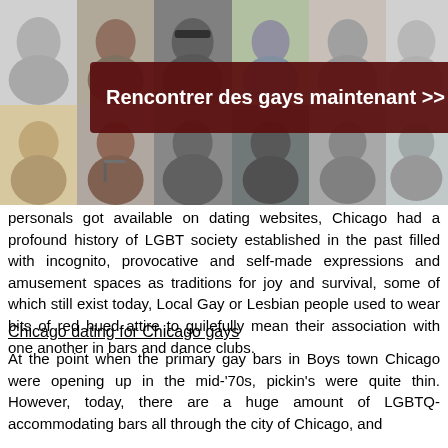[Figure (photo): Collage of multiple portrait photos of young men arranged in two rows, displayed in black and white and color]
Rencontrer des gays maintenant >>
personals got available on dating websites, Chicago had a profound history of LGBT society established in the past filled with incognito, provocative and self-made expressions and amusement spaces as traditions for joy and survival, some of which still exist today, Local Gay or Lesbian people used to wear bits of red hued attire to guilefully mean their association with one another in bars and dance clubs.
Chicago dating for Chicago gays
At the point when the primary gay bars in Boys town Chicago were opening up in the mid-'70s, pickin's were quite thin. However, today, there are a huge amount of LGBTQ-accommodating bars all through the city of Chicago, and